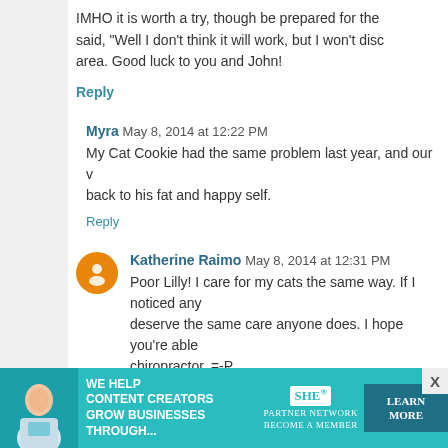IMHO it is worth a try, though be prepared for the said, "Well I don't think it will work, but I won't disc area. Good luck to you and John!
Reply
Myra  May 8, 2014 at 12:22 PM
My Cat Cookie had the same problem last year, and our v back to his fat and happy self.
Reply
Katherine Raimo  May 8, 2014 at 12:31 PM
Poor Lilly! I care for my cats the same way. If I noticed any deserve the same care anyone does. I hope you're able chiropractor. =-P
Reply
runningrandom  May 8, 2014 at 12:37 PM
[Figure (infographic): SHE Partner Network advertisement banner with text 'We Help Content Creators Grow Businesses Through...' and 'Learn More' button]